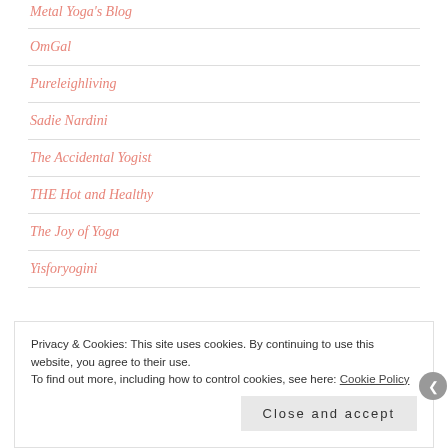Metal Yoga's Blog
OmGal
Pureleighliving
Sadie Nardini
The Accidental Yogist
THE Hot and Healthy
The Joy of Yoga
Yisforyogini
Privacy & Cookies: This site uses cookies. By continuing to use this website, you agree to their use.
To find out more, including how to control cookies, see here: Cookie Policy
Close and accept